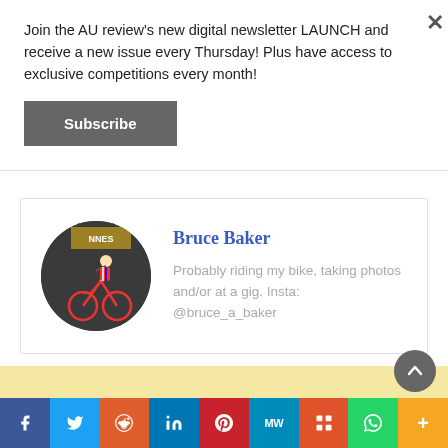Join the AU review's new digital newsletter LAUNCH and receive a new issue every Thursday! Plus have access to exclusive competitions every month!
Subscribe
Bruce Baker
Probably riding my bike, taking photos and/or at a gig. Insta: @bruce_a_baker
[Figure (photo): Circular profile photo of Bruce Baker with a bicycle]
f
Twitter bird icon
Reddit snoo icon
in
Pinterest P icon
MW
Mix icon
WhatsApp icon
+